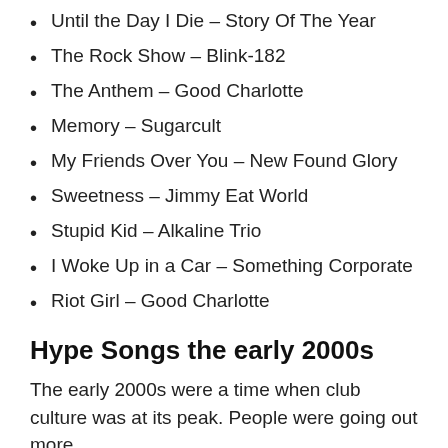Until the Day I Die – Story Of The Year
The Rock Show – Blink-182
The Anthem – Good Charlotte
Memory – Sugarcult
My Friends Over You – New Found Glory
Sweetness – Jimmy Eat World
Stupid Kid – Alkaline Trio
I Woke Up in a Car – Something Corporate
Riot Girl – Good Charlotte
Hype Songs the early 2000s
The early 2000s were a time when club culture was at its peak. People were going out more